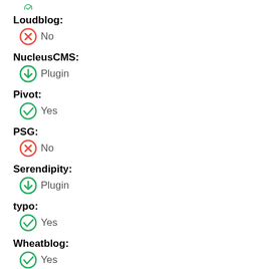Loudblog: No
NucleusCMS: Plugin
Pivot: Yes
PSG: No
Serendipity: Plugin
typo: Yes
Wheatblog: Yes